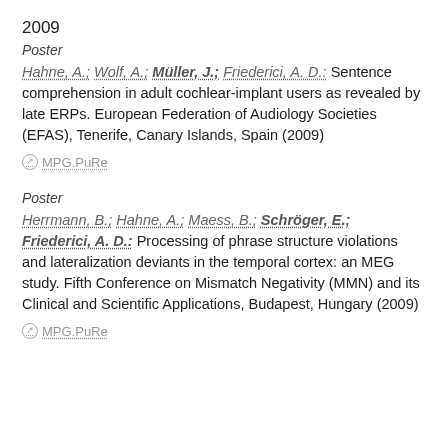2009
Poster
Hahne, A.; Wolf, A.; Müller, J.; Friederici, A. D.: Sentence comprehension in adult cochlear-implant users as revealed by late ERPs. European Federation of Audiology Societies (EFAS), Tenerife, Canary Islands, Spain (2009)
MPG.PuRe
Poster
Herrmann, B.; Hahne, A.; Maess, B.; Schröger, E.; Friederici, A. D.: Processing of phrase structure violations and lateralization deviants in the temporal cortex: an MEG study. Fifth Conference on Mismatch Negativity (MMN) and its Clinical and Scientific Applications, Budapest, Hungary (2009)
MPG.PuRe